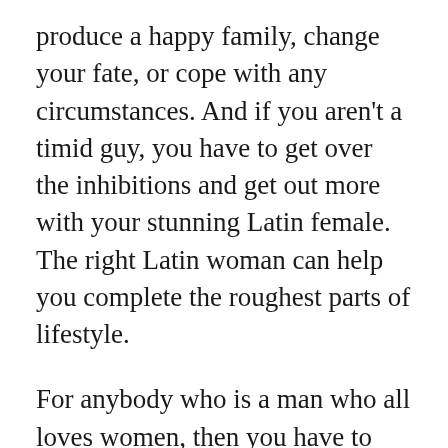produce a happy family, change your fate, or cope with any circumstances. And if you aren't a timid guy, you have to get over the inhibitions and get out more with your stunning Latin female. The right Latin woman can help you complete the roughest parts of lifestyle.
For anybody who is a man who all loves women, then you have to accept this fact. When you get excited about a Latin woman, your lady https://latinawoman.org/countries/meet-dominican-women can confirm about her beauty right from afar. This lady https://americanbible.com/love-bible...